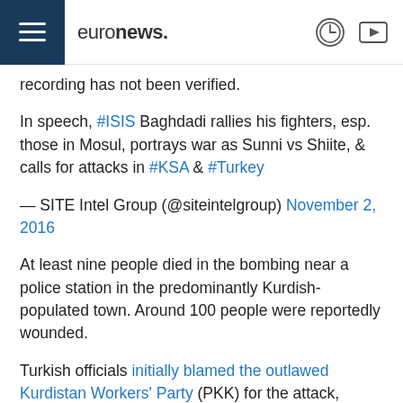euronews.
recording has not been verified.
In speech, #ISIS Baghdadi rallies his fighters, esp. those in Mosul, portrays war as Sunni vs Shiite, & calls for attacks in #KSA & #Turkey
— SITE Intel Group (@siteintelgroup) November 2, 2016
At least nine people died in the bombing near a police station in the predominantly Kurdish-populated town. Around 100 people were reportedly wounded.
Turkish officials initially blamed the outlawed Kurdistan Workers' Party (PKK) for the attack, which took place in the Baglar district. Prime Minister Binali Yildirim said one suspected PKK member was among those killed in the blast.